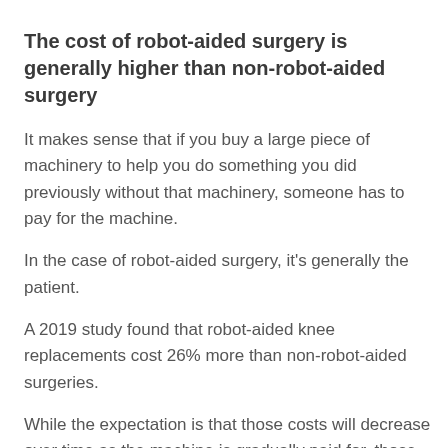The cost of robot-aided surgery is generally higher than non-robot-aided surgery
It makes sense that if you buy a large piece of machinery to help you do something you did previously without that machinery, someone has to pay for the machine.
In the case of robot-aided surgery, it's generally the patient.
A 2019 study found that robot-aided knee replacements cost 26% more than non-robot-aided surgeries.
While the expectation is that those costs will decrease over time as the machine is gradually paid for, those cost declines could be offset by new software or new machines. While a good surgeon can be trained on new processes, a machine that can only do one thing one way may have to